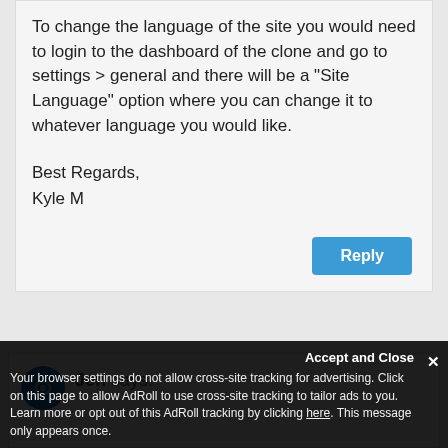To change the language of the site you would need to login to the dashboard of the clone and go to settings > general and there will be a "Site Language" option where you can change it to whatever language you would like.

Best Regards,
Kyle M
Jen says:
Accept and Close
Your browser settings do not allow cross-site tracking for advertising. Click on this page to allow AdRoll to use cross-site tracking to tailor ads to you. Learn more or opt out of this AdRoll tracking by clicking here. This message only appears once.